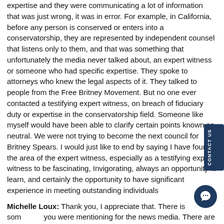expertise and they were communicating a lot of information that was just wrong, it was in error. For example, in California, before any person is conserved or enters into a conservatorship, they are represented by independent counsel that listens only to them, and that was something that unfortunately the media never talked about, an expert witness or someone who had specific expertise. They spoke to attorneys who knew the legal aspects of it. They talked to people from the Free Britney Movement. But no one ever contacted a testifying expert witness, on breach of fiduciary duty or expertise in the conservatorship field. Someone like myself would have been able to clarify certain points known as neutral. We were not trying to become the next council for Britney Spears. I would just like to end by saying I have found the area of the expert witness, especially as a testifying expert witness to be fascinating, Invigorating, always an opportunity to learn, and certainly the opportunity to have significant experience in meeting outstanding individuals
Michelle Loux: Thank you, I appreciate that. There is something you were mentioning for the news media. There are multiple sides and different viewpoints, but to your point, the neutral party and understanding of what is at play would be useful to